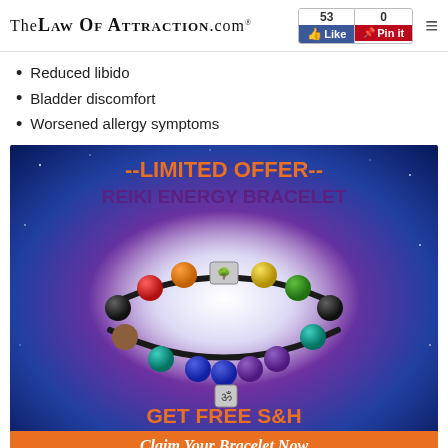TheLawOfAttraction.com® | 53 Like | 0 Pin it
Reduced libido
Bladder discomfort
Worsened allergy symptoms
[Figure (infographic): Advertisement for Reiki Energy Bracelet. Text reads '--LIMITED OFFER-- REIKI ENERGY BRACELET' in orange and purple. Center shows a colorful beaded bracelet with chakra stones (red, orange, yellow, green, turquoise, blue, purple beads) with a tree of life charm and Om symbol charm on dark cord. Bottom text: 'GET FREE S&H + 2 FREE BONUSES'. Orange bar at bottom: 'Claim Your Bracelet Now'. Background has blue/purple galaxy effect.]